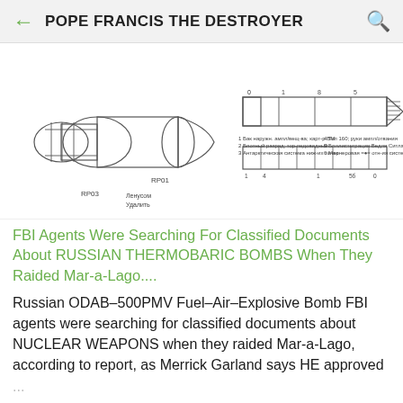POPE FRANCIS THE DESTROYER
[Figure (illustration): Technical line drawing of Russian ODAB-500PMV thermobaric bomb with labeled parts in Russian, showing side views and component diagrams]
FBI Agents Were Searching For Classified Documents About RUSSIAN THERMOBARIC BOMBS When They Raided Mar-a-Lago....
Russian ODAB–500PMV Fuel–Air–Explosive Bomb FBI agents were searching for classified documents about NUCLEAR WEAPONS when they raided Mar-a-Lago, according to report, as Merrick Garland says HE approved ...
[Figure (photo): Partial photo of an outdoor scene, blurred/grey sky background]